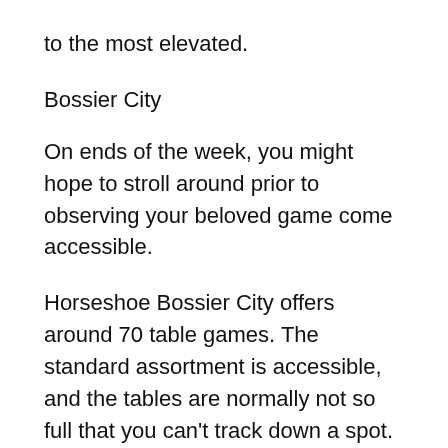to the most elevated.
Bossier City
On ends of the week, you might hope to stroll around prior to observing your beloved game come accessible.
Horseshoe Bossier City offers around 70 table games. The standard assortment is accessible, and the tables are normally not so full that you can't track down a spot.
The region has various gambling clubs, and they are all inside a short drive from one another. Along these lines, regardless of whether Horseshoe is